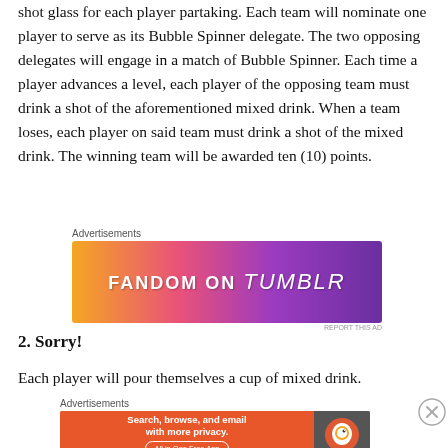shot glass for each player partaking. Each team will nominate one player to serve as its Bubble Spinner delegate. The two opposing delegates will engage in a match of Bubble Spinner. Each time a player advances a level, each player of the opposing team must drink a shot of the aforementioned mixed drink. When a team loses, each player on said team must drink a shot of the mixed drink. The winning team will be awarded ten (10) points.
[Figure (screenshot): Fandom on Tumblr advertisement banner with gradient background from orange to purple]
2. Sorry!
Each player will pour themselves a cup of mixed drink.
[Figure (screenshot): DuckDuckGo advertisement: Search, browse, and email with more privacy. All in One Free App]